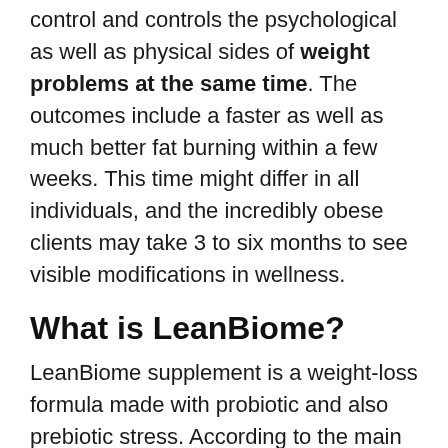control and controls the psychological as well as physical sides of weight problems at the same time. The outcomes include a faster as well as much better fat burning within a few weeks. This time might differ in all individuals, and the incredibly obese clients may take 3 to six months to see visible modifications in wellness.
What is LeanBiome?
LeanBiome supplement is a weight-loss formula made with probiotic and also prebiotic stress. According to the main web site, this probiotic mix works on getting rid of the body from contaminants, oxidative anxiety, cost-free radicals, and other waste materials preventing weight management.